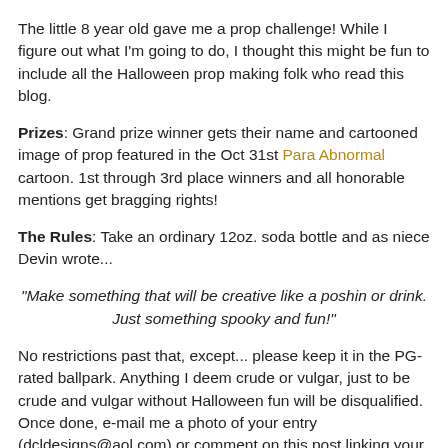The little 8 year old gave me a prop challenge! While I figure out what I'm going to do, I thought this might be fun to include all the Halloween prop making folk who read this blog.
Prizes: Grand prize winner gets their name and cartooned image of prop featured in the Oct 31st Para Abnormal cartoon. 1st through 3rd place winners and all honorable mentions get bragging rights!
The Rules: Take an ordinary 12oz. soda bottle and as niece Devin wrote...
"Make something that will be creative like a poshin or drink. Just something spooky and fun!"
No restrictions past that, except... please keep it in the PG-rated ballpark. Anything I deem crude or vulgar, just to be crude and vulgar without Halloween fun will be disqualified. Once done, e-mail me a photo of your entry (dcldesigns@aol.com) or comment on this post linking your